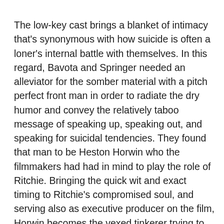The low-key cast brings a blanket of intimacy that's synonymous with how suicide is often a loner's internal battle with themselves. In this regard, Bavota and Springer needed an alleviator for the somber material with a pitch perfect front man in order to radiate the dry humor and convey the relatively taboo message of speaking up, speaking out, and speaking for suicidal tendencies. They found that man to be Heston Horwin who the filmmakers had had in mind to play the role of Ritchie. Bringing the quick wit and exact timing to Ritchie's compromised soul, and serving also as executive producer on the film, Horwin becomes the vexed tinkerer trying to problem solve the causality of his own immortality who is stuck in a loop, a motif of in death there is life that continues to pop up, and also contorts his personality to make Ritchie a Rubik cube